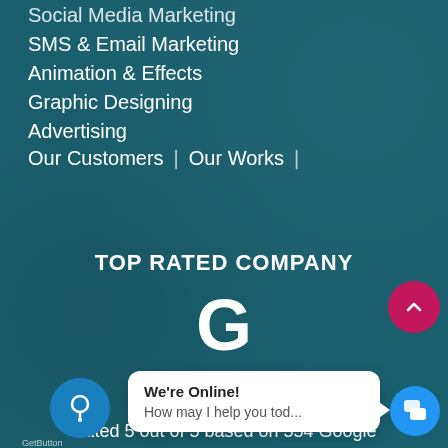Social Media Marketing
SMS & Email Marketing
Animation & Effects
Graphic Designing
Advertising
Our Customers  |  Our Works  |
TOP RATED COMPANY
[Figure (logo): Google 'G' logo in white on teal background]
[Figure (infographic): 5 gold star rating icons]
Rated 5 out of 5 based on 554 Google
We're Online!
How may I help you tod...